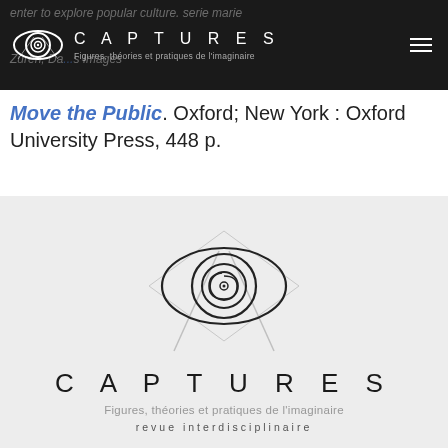CAPTURES — Figures, théories et pratiques de l'imaginaire
Move the Public. Oxford; New York : Oxford University Press, 448 p.
[Figure (logo): Captures journal logo: stylized eye with spiral pupil, large centered version on light grey background with journal name CAPTURES, subtitle Figures, théories et pratiques de l'imaginaire, and revue interdisciplinaire below]